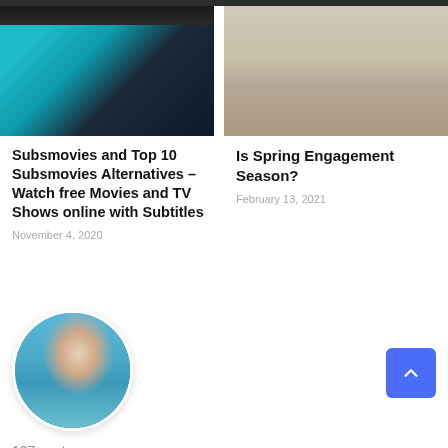[Figure (photo): Photo of hands typing on a laptop on a teal table]
[Figure (photo): Photo of a bird on sand/beach with shells]
Subsmovies and Top 10 Subsmovies Alternatives – Watch free Movies and TV Shows online with Subtitles
November 4, 2020
Is Spring Engagement Season?
February 13, 2021
[Figure (photo): Circular profile photo of Rajhu S Goraai sitting outdoors near a pool]
127 posts
Rajhu S Goraai
ABOUT AUTHOR